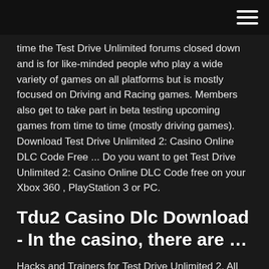time the Test Drive Unlimited forums closed down and is for like-minded people who play a wide variety of games on all platforms but is mostly focused on Driving and Racing games. Members also get to take part in beta testing upcoming games from time to time (mostly driving games). Download Test Drive Unlimited 2: Casino Online DLC Code Free ... Do you want to get Test Drive Unlimited 2: Casino Online DLC Code free on your Xbox 360 , PlayStation 3 or PC.
Tdu2 Casino Dlc Download - In the casino, there are …
Hacks and Trainers for Test Drive Unlimited 2. All cars and tuning of untuneable cars + painting / sticking unique cars.